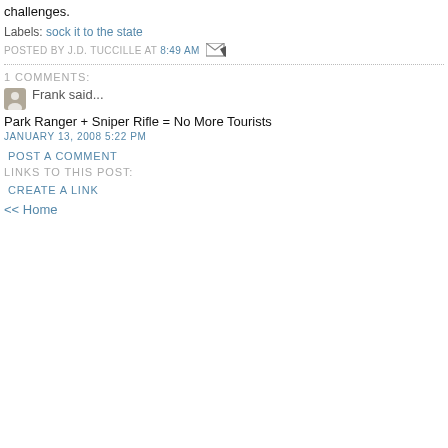challenges.
Labels: sock it to the state
POSTED BY J.D. TUCCILLE AT 8:49 AM
1 COMMENTS:
Frank said...
Park Ranger + Sniper Rifle = No More Tourists
JANUARY 13, 2008 5:22 PM
POST A COMMENT
LINKS TO THIS POST:
CREATE A LINK
<< Home